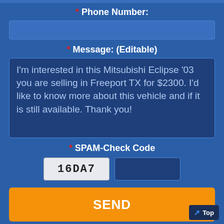* Phone Number:
* Message: (Editable)
I'm interested in this Mitsubishi Eclipse '03 you are selling in Freeport TX for $2300. I'd like to know more about this vehicle and if it is still available. Thank you!
* SPAM-Check Code
16DA7
SEND
Please read these safety tips before negotiating a vehicle.